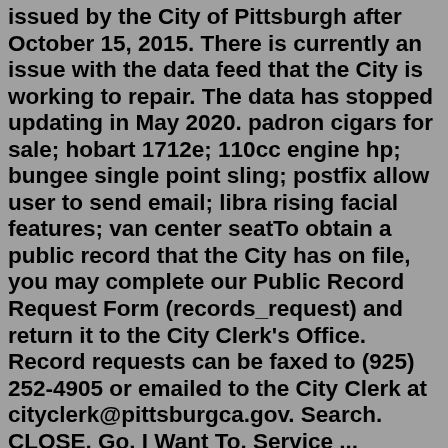issued by the City of Pittsburgh after October 15, 2015. There is currently an issue with the data feed that the City is working to repair. The data has stopped updating in May 2020. padron cigars for sale; hobart 1712e; 110cc engine hp; bungee single point sling; postfix allow user to send email; libra rising facial features; van center seatTo obtain a public record that the City has on file, you may complete our Public Record Request Form (records_request) and return it to the City Clerk's Office. Record requests can be faxed to (925) 252-4905 or emailed to the City Clerk at cityclerk@pittsburgca.gov. Search. CLOSE. Go. I Want To. Service ... Building Permits; Engineering Permit; Zoning Information; Obtain City Standard Details and Specifications; Pittsburg Municipal Code; ... City of Pittsburg 65 Civic Avenue Pittsburg, CA 94565. Call Us: 925-252-6900. About Pittsburg Employment Contact Us Site Map.This website is an interactive map that tracks PLI permits, PLI enforcement actions, PLI licenses, and the Department of City Planning's development